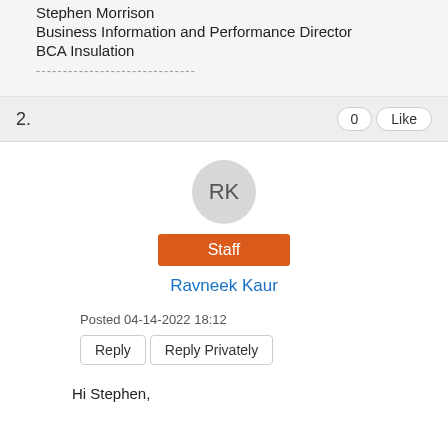Stephen Morrison
Business Information and Performance Director
BCA Insulation
------------------------------
2.
0
Like
[Figure (other): Avatar circle with initials RK on grey background]
Staff
Ravneek Kaur
Posted 04-14-2022 18:12
Reply
Reply Privately
Hi Stephen,